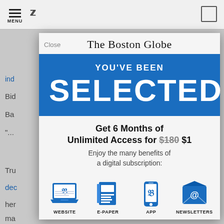[Figure (screenshot): Screenshot of The Boston Globe website showing a subscription modal popup. The modal has a blue banner with 'YOU'VE BEEN SELECTED' in large white text, followed by an offer for 6 months of unlimited access for $1 (regularly $180), and icons for Website, E-Paper, App, and Newsletters benefits.]
The Boston Globe
YOU'VE BEEN
SELECTED
Get 6 Months of Unlimited Access for $180 $1
Enjoy the many benefits of a digital subscription:
WEBSITE
E-PAPER
APP
NEWSLETTERS